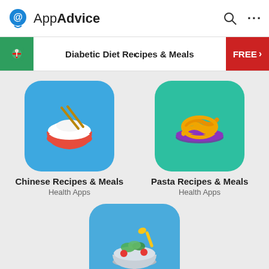AppAdvice
[Figure (screenshot): AppAdvice app website screenshot showing Diabetic Diet Recipes & Meals banner and app listings for Chinese Recipes & Meals, Pasta Recipes & Meals, and Salad Recipes & Meal Plans under Health Apps]
Diabetic Diet Recipes & Meals
FREE >
Chinese Recipes & Meals
Health Apps
Pasta Recipes & Meals
Health Apps
Salad Recipes & Meal Plans
Health Apps